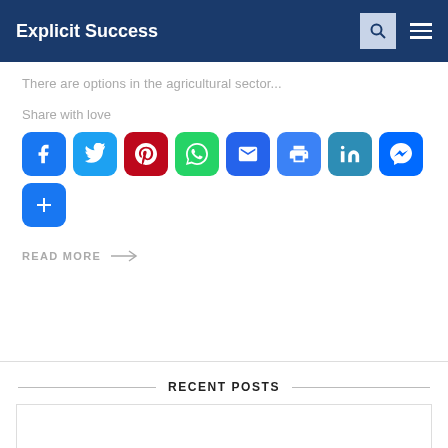Explicit Success
There are options in the agricultural sector...
Share with love
[Figure (infographic): Social share buttons: Facebook, Twitter, Pinterest, WhatsApp, Email, Print, LinkedIn, Messenger, More (+)]
READ MORE →
RECENT POSTS